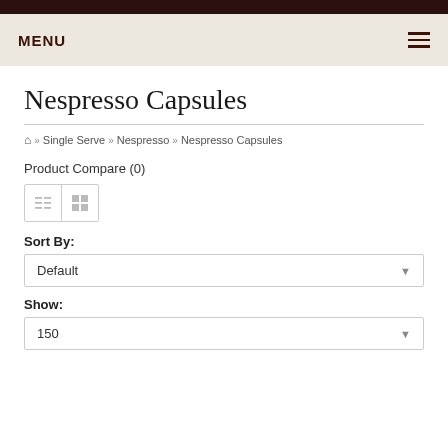MENU
Nespresso Capsules
Home >> Single Serve >> Nespresso >> Nespresso Capsules
Product Compare (0)
Sort By:
Default
Show:
150